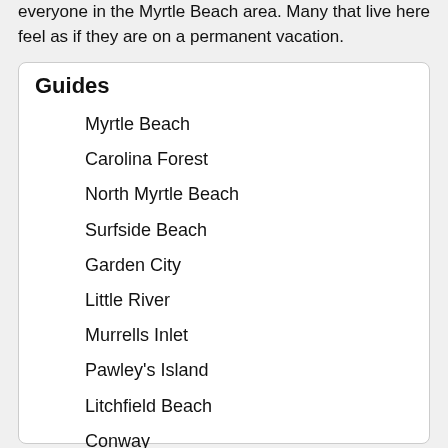everyone in the Myrtle Beach area. Many that live here feel as if they are on a permanent vacation.
Guides
Myrtle Beach
Carolina Forest
North Myrtle Beach
Surfside Beach
Garden City
Little River
Murrells Inlet
Pawley's Island
Litchfield Beach
Conway